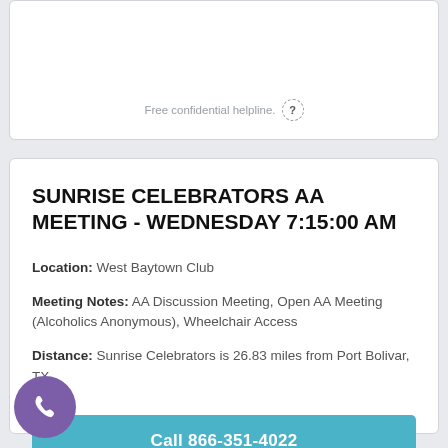Free confidential helpline.
SUNRISE CELEBRATORS AA MEETING - WEDNESDAY 7:15:00 AM
Location: West Baytown Club
Meeting Notes: AA Discussion Meeting, Open AA Meeting (Alcoholics Anonymous), Wheelchair Access
Distance: Sunrise Celebrators is 26.83 miles from Port Bolivar, TX
Call 866-351-4022
Free confidential helpline.